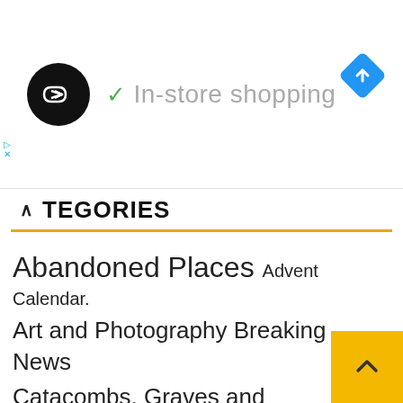[Figure (screenshot): Ad banner with circular logo containing double arrow icon, checkmark and 'In-store shopping' text, blue diamond navigation icon on right, and small ad indicator on left edge]
CATEGORIES
Abandoned Places
Advent Calendar.
Art and Photography
Breaking News
Catacombs, Graves and Cemeteries
Chernobyl Diaries
Extras
Food
History
Holiday, folklore and Traditions
Lighthouses of the world
Motors
Music
Myths and Legends
People,
mysteries and stories
Random